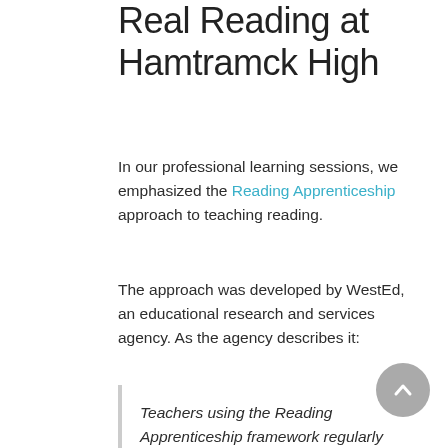Real Reading at Hamtramck High
In our professional learning sessions, we emphasized the Reading Apprenticeship approach to teaching reading.
The approach was developed by WestEd, an educational research and services agency. As the agency describes it:
Teachers using the Reading Apprenticeship framework regularly model disciplinary-specific literacy skills, help students build high-level comprehension strategies, engage students in building knowledge by making connections to